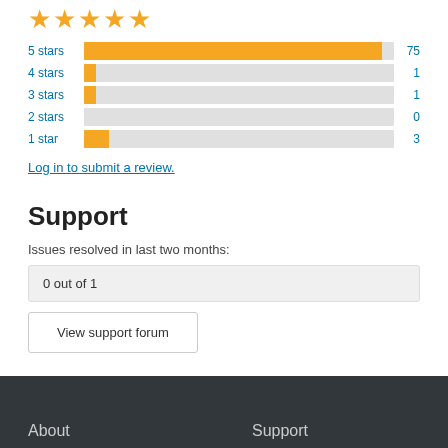[Figure (bar-chart): Star ratings]
Log in to submit a review.
Support
Issues resolved in last two months:
0 out of 1
View support forum
About   Support